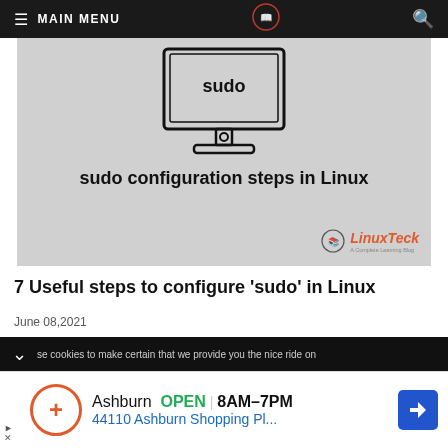≡ MAIN MENU
[Figure (illustration): Hero image: monitor displaying 'sudo' text with 'sudo configuration steps in Linux' caption and LinuxTeck branding on grey background]
7 Useful steps to configure 'sudo' in Linux
June 08,2021
...se cookies to make certain that we provide you the nice ride on...
Ashburn  OPEN  8AM–7PM  44110 Ashburn Shopping Pl...